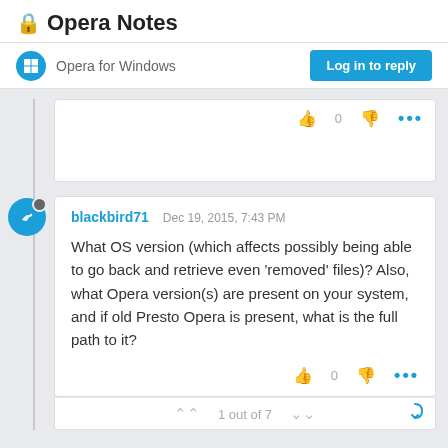Opera Notes
Opera for Windows
Log in to reply
blackbird71  Dec 19, 2015, 7:43 PM
What OS version (which affects possibly being able to go back and retrieve even 'removed' files)? Also, what Opera version(s) are present on your system, and if old Presto Opera is present, what is the full path to it?
1 out of 7